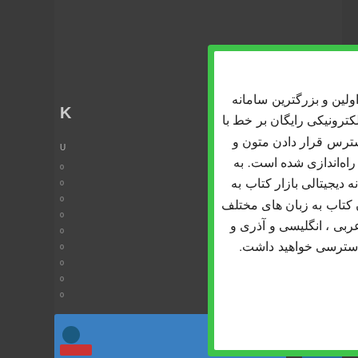[Figure (screenshot): A modal dialog box with a green border on a dark background web page. The modal contains Persian/Farsi text describing a digital book marketplace.]
بازار کتاب اولین و بزرگترین سامانه دانلود کتاب الکترونیکی رایگان بر خط با هدف در دسترس قرار دادن متون و کتب شیعه راه‌اندازی شده است. به کمک کتابخانه دیجیتالی بازار کتاب به هزاران عنوان کتاب به زبان های مختلف : فارسی ، عربی ، انگلیسی و آذری و غیره .... دسترسی خواهید داشت.